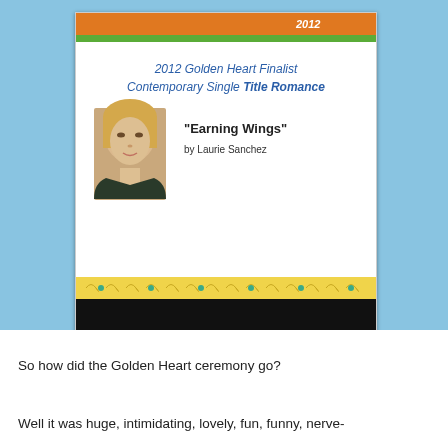[Figure (photo): A photograph of a projection screen showing a 2012 Golden Heart Finalist slide for Contemporary Single Title Romance, featuring the book 'Earning Wings' by Laurie Sanchez with a portrait photo of the author. The slide has an orange banner at top, blue italic text for the category, and a decorative yellow/gold scrollwork border. The bottom half of the image is dark/black showing the room.]
So how did the Golden Heart ceremony go?
Well it was huge, intimidating, lovely, fun, funny, nerve-